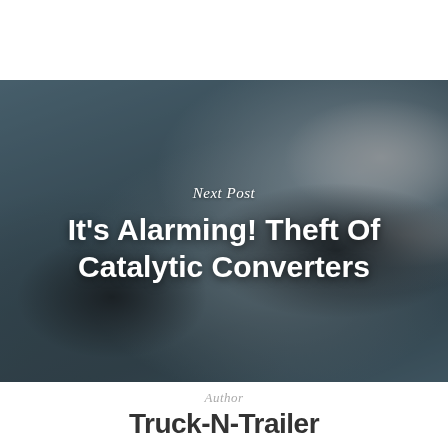[Figure (photo): Underside view of a vehicle on a lift in a garage, showing exhaust pipes, tire, and mechanical components. Image serves as background for a blog post link.]
Next Post
It's Alarming! Theft Of Catalytic Converters
Author
Truck-N-Trailer